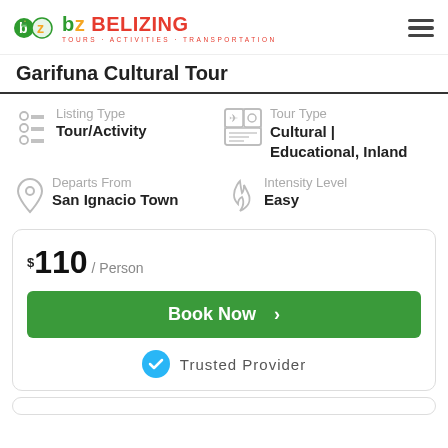Belizing — Tours · Activities · Transportation
Garifuna Cultural Tour
Listing Type: Tour/Activity
Tour Type: Cultural | Educational, Inland
Departs From: San Ignacio Town
Intensity Level: Easy
$110 / Person
Book Now
Trusted Provider